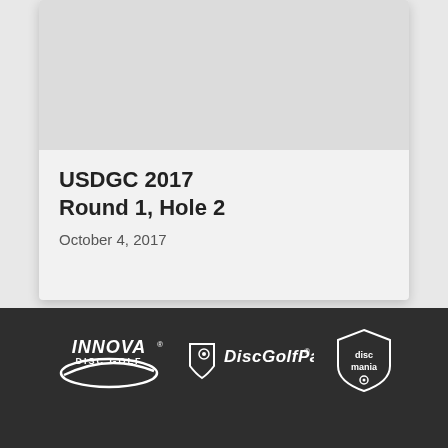[Figure (other): Gray image placeholder area at the top of the card]
USDGC 2017 Round 1, Hole 2
October 4, 2017
[Figure (logo): Footer bar with sponsor logos: Innova Disc Golf, DiscGolfPark, Discmania]